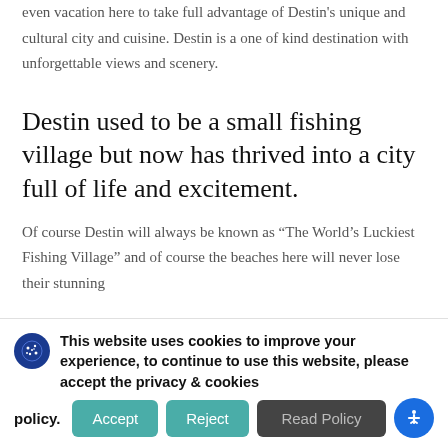even vacation here to take full advantage of Destin's unique and cultural city and cuisine. Destin is a one of kind destination with unforgettable views and scenery.
Destin used to be a small fishing village but now has thrived into a city full of life and excitement.
Of course Destin will always be known as “The World’s Luckiest Fishing Village” and of course the beaches here will never lose their stunning
This website uses cookies to improve your experience, to continue to use this website, please accept the privacy & cookies policy.